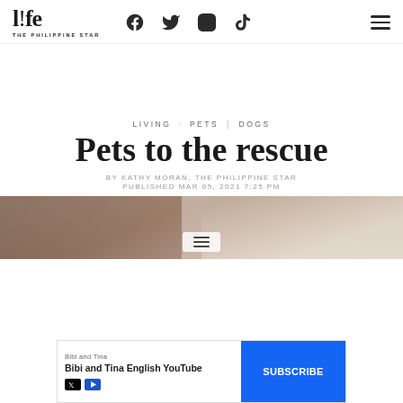life THE PHILIPPINE STAR — with social icons (Facebook, Twitter, Instagram, TikTok) and hamburger menu
LIVING · PETS | DOGS
Pets to the rescue
BY KATHY MORAN, THE PHILIPPINE STAR
PUBLISHED MAR 05, 2021 7:25 PM
[Figure (photo): Hero image showing a person with a pet, warm tones]
[Figure (other): Advertisement banner: Bibi and Tina — Bibi and Tina English YouTube — SUBSCRIBE button]